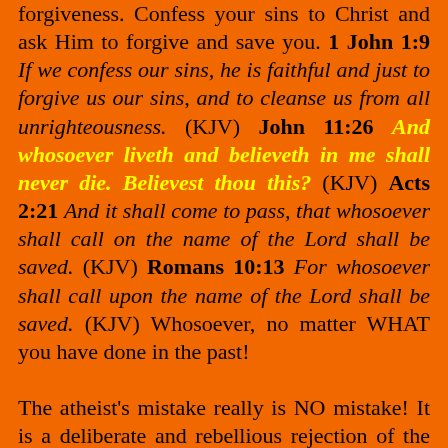forgiveness. Confess your sins to Christ and ask Him to forgive and save you. 1 John 1:9 If we confess our sins, he is faithful and just to forgive us our sins, and to cleanse us from all unrighteousness. (KJV) John 11:26 And whosoever liveth and believeth in me shall never die. Believest thou this? (KJV) Acts 2:21 And it shall come to pass, that whosoever shall call on the name of the Lord shall be saved. (KJV) Romans 10:13 For whosoever shall call upon the name of the Lord shall be saved. (KJV) Whosoever, no matter WHAT you have done in the past!
The atheist's mistake really is NO mistake! It is a deliberate and rebellious rejection of the the one ond only Saviour, Jesus Christ . . . Who is Almighty God (John 10:30). Hebrews 11:6 But without faith it is impossible to